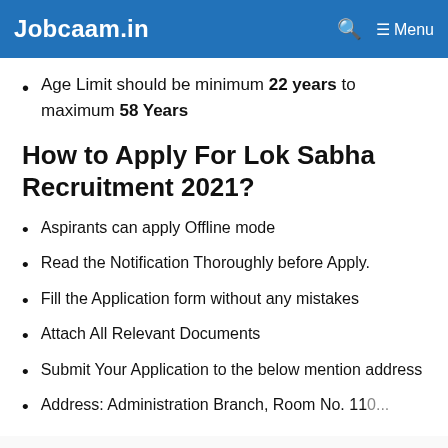Jobcaam.in   🔍  ☰ Menu
Age Limit should be minimum 22 years to maximum 58 Years
How to Apply For Lok Sabha Recruitment 2021?
Aspirants can apply Offline mode
Read the Notification Thoroughly before Apply.
Fill the Application form without any mistakes
Attach All Relevant Documents
Submit Your Application to the below mention address
Address: Administration Branch, Room No. 110...